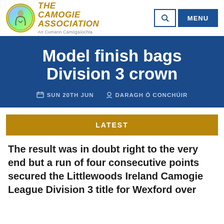THE CAMOGIE ASSOCIATION An Cumann Camógaíochta
Model finish bags Division 3 crown
SUN 20TH JUN   DARAGH Ó CONCHÚIR
LATEST
The result was in doubt right to the very end but a run of four consecutive points secured the Littlewoods Ireland Camogie League Division 3 title for Wexford over